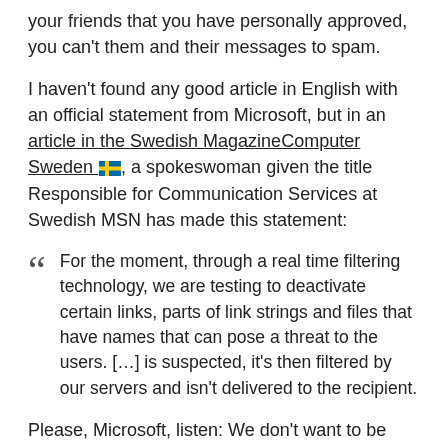your friends that you have personally approved, you can't them and their messages to spam.
I haven't found any good article in English with an official statement from Microsoft, but in an article in the Swedish MagazineComputer Sweden 🇸🇪, a spokeswoman given the title Responsible for Communication Services at Swedish MSN has made this statement:
For the moment, through a real time filtering technology, we are testing to deactivate certain links, parts of link strings and files that have names that can pose a threat to the users. […] is suspected, it's then filtered by our servers and isn't delivered to the recipient.
Please, Microsoft, listen: We don't want to be your guinea pigs! Except for the laughable approach with string matching to see if anything they perceive as dangerous should be removed from a message, there are number of